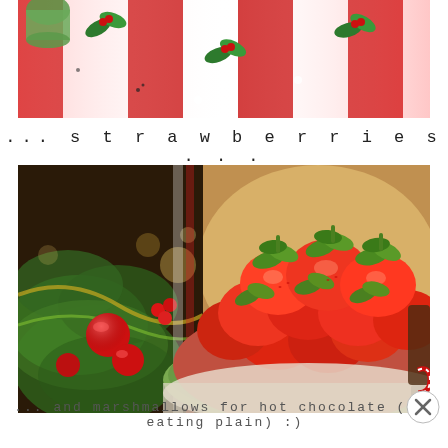[Figure (photo): Christmas table runner with red and white stripes and holly decorations, with a green cup visible at top]
... strawberries...
[Figure (photo): Left side: Christmas tree garland with red ornaments and lights. Right side: Green bowl filled with fresh red strawberries, with chocolate items visible at bottom right]
... and marshmallows for hot chocolate (and eating plain) :)